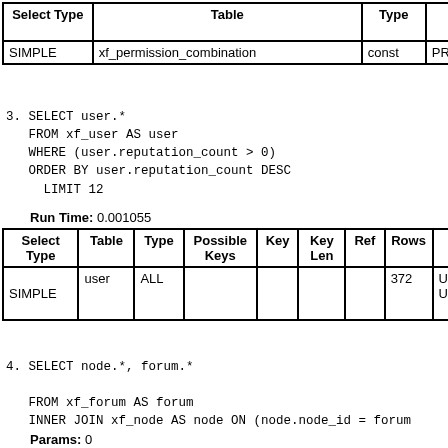| Select Type | Table | Type | Possible Keys | Key |
| --- | --- | --- | --- | --- |
| SIMPLE | xf_permission_combination | const | PRIMARY | PRI |
3. SELECT user.*
    FROM xf_user AS user
    WHERE (user.reputation_count > 0)
    ORDER BY user.reputation_count DESC
      LIMIT 12
Run Time: 0.001055
| Select Type | Table | Type | Possible Keys | Key | Key Len | Ref | Rows | Extra |
| --- | --- | --- | --- | --- | --- | --- | --- | --- |
| SIMPLE | user | ALL |  |  |  |  | 372 | Using where; Using filesort |
4. SELECT node.*, forum.*

    FROM xf_forum AS forum
    INNER JOIN xf_node AS node ON (node.node_id = forum

    WHERE node.node_id = ?
Params: 0